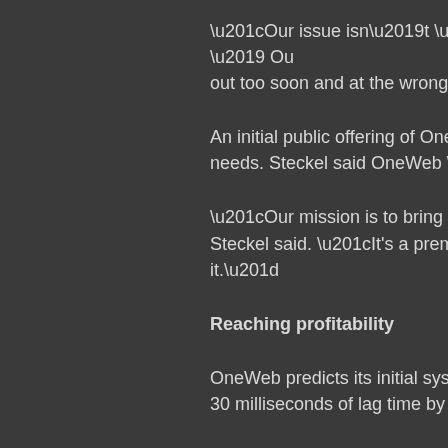“Our issue isn’t ‘will we sell out?’ Ou… out too soon and at the wrong price…
An initial public offering of OneWeb… needs. Steckel said OneWeb “abso…
“Our mission is to bring connectivity… Steckel said. “It’s a premium produ… it.”
Reaching profitability
OneWeb predicts its initial system w… 30 milliseconds of lag time by the ti…
For now, OneWeb’s first six satellite… minutes of service at a time — far t… successive launch will increase that…
OneWeb anticipates launching arou…